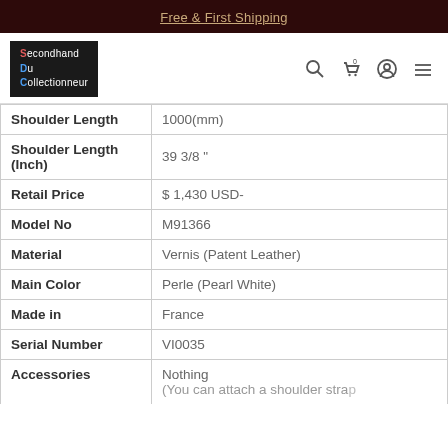Free & First Shipping
[Figure (logo): Secondhand Du Collectionneur logo with navigation icons]
| Shoulder Length | 1000(mm) |
| Shoulder Length (Inch) | 39 3/8 " |
| Retail Price | $ 1,430 USD- |
| Model No | M91366 |
| Material | Vernis (Patent Leather) |
| Main Color | Perle (Pearl White) |
| Made in | France |
| Serial Number | VI0035 |
| Accessories | Nothing
(You can attach a shoulder strap |